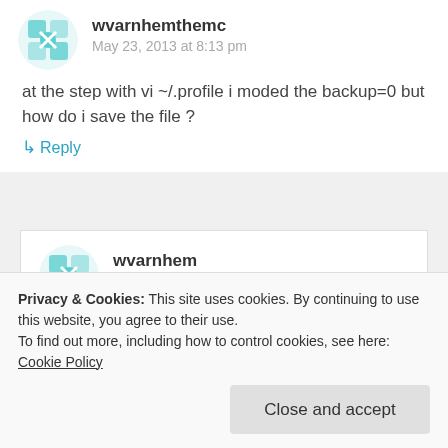wvarnhemthemc
May 23, 2013 at 8:13 pm
at the step with vi ~/.profile i moded the backup=0 but how do i save the file ?
↳ Reply
wvarnhem
May 23, 2013 at 8:13 pm
Privacy & Cookies: This site uses cookies. By continuing to use this website, you agree to their use.
To find out more, including how to control cookies, see here: Cookie Policy
Close and accept